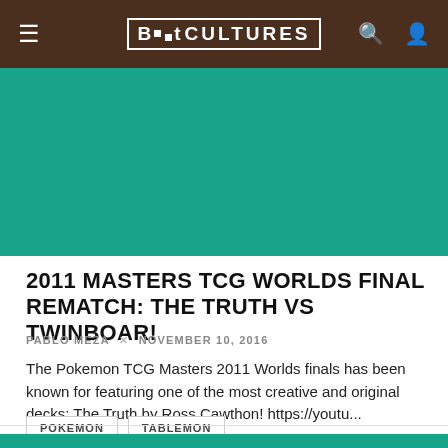BitCultures
[Figure (photo): Solid teal/green hero image area, no visible content]
2011 MASTERS TCG WORLDS FINAL REMATCH: THE TRUTH VS TWINBOAR!
PABLO MEZA × NOVEMBER 10, 2016
The Pokemon TCG Masters 2011 Worlds finals has been known for featuring one of the most creative and original decks: The Truth by Ross Cawthon! https://youtu...
POKEMON
TABLEMON